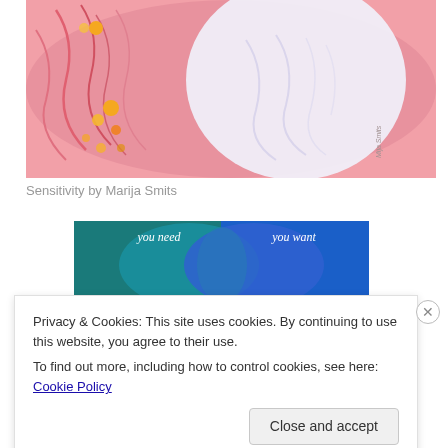[Figure (illustration): Artwork showing swirling pink/red organic forms with glowing orange orbs on the left and a large white luminous oval shape on the right against a pink background.]
Sensitivity by Marija Smits
[Figure (illustration): Venn diagram style image with two overlapping circles on a teal/blue gradient background. Left circle labeled 'you need', right circle labeled 'you want'.]
Privacy & Cookies: This site uses cookies. By continuing to use this website, you agree to their use.
To find out more, including how to control cookies, see here: Cookie Policy